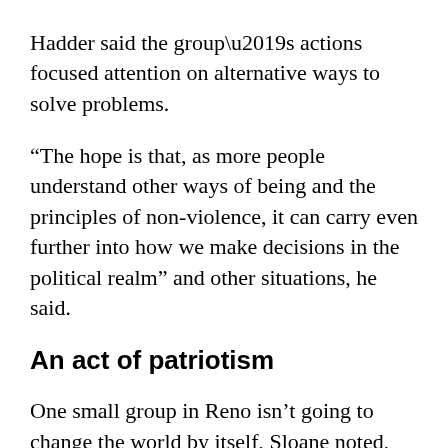Hadder said the group’s actions focused attention on alternative ways to solve problems.
“The hope is that, as more people understand other ways of being and the principles of non-violence, it can carry even further into how we make decisions in the political realm” and other situations, he said.
An act of patriotism
One small group in Reno isn’t going to change the world by itself, Sloane noted, but groups advocating for peace and nonviolence have